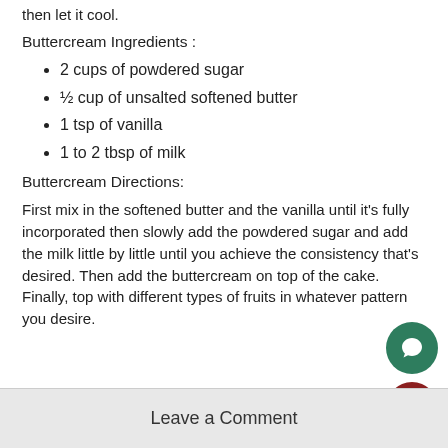then let it cool.
Buttercream Ingredients :
2 cups of powdered sugar
½ cup of unsalted softened butter
1 tsp of vanilla
1 to 2 tbsp of milk
Buttercream Directions:
First mix in the softened butter and the vanilla until it's fully incorporated then slowly add the powdered sugar and add the milk little by little until you achieve the consistency that's desired. Then add the buttercream on top of the cake. Finally, top with different types of fruits in whatever pattern you desire.
Leave a Comment